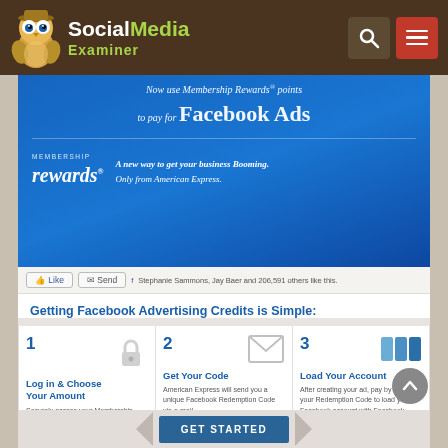Social Media Examiner
[Figure (screenshot): Social Media Examiner website header with owl mascot logo, search icon, and hamburger menu]
[Figure (screenshot): American Express Membership Rewards banner ad promoting Facebook Ads payment with Membership Rewards points]
Stephanie Sammons, Jay Baer and 206,591 others like this.
Getting Facebook Advertising Credits is Simple:
1 Log in & Choose Your Amount – Securely access your Membership Rewards program account and choose the denomination of credits you want. Then use points to get them.
2 Get Your Code – American Express will send you a unique Facebook Redemption Code via e-mail.
3 Load Your Account – After creating your ad, pay by entering your Redemption Code to load your Facebook account with Facebook Advertising Credits.
GET STARTED